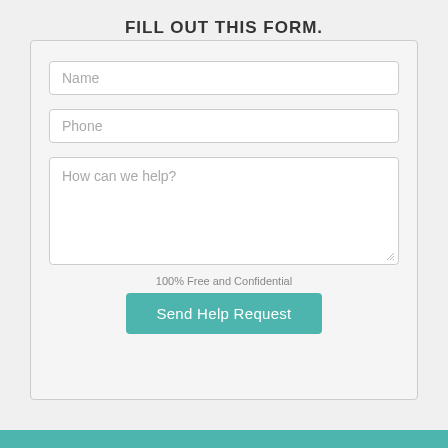FILL OUT THIS FORM.
Name
Phone
How can we help?
100% Free and Confidential
Send Help Request